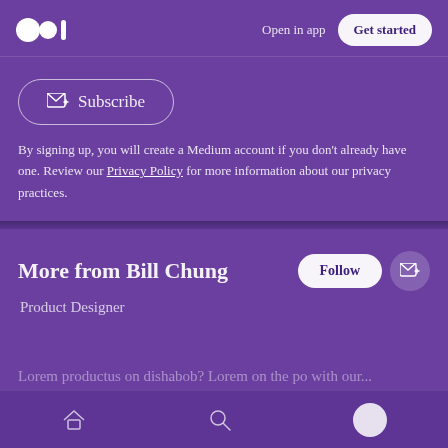Open in app | Get started
Subscribe
By signing up, you will create a Medium account if you don't already have one. Review our Privacy Policy for more information about our privacy practices.
More from Bill Chung
Product Designer
Lorem productus on dishabob? Lorem on the po with our...
Home | Search | Profile